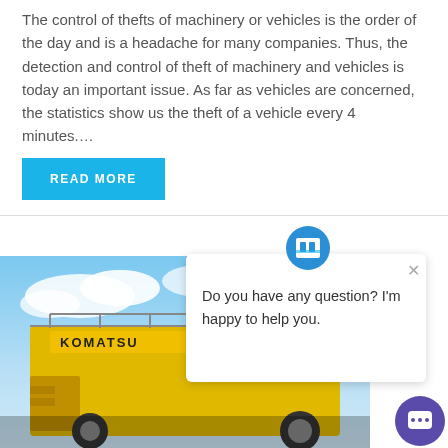The control of thefts of machinery or vehicles is the order of the day and is a headache for many companies. Thus, the detection and control of theft of machinery and vehicles is today an important issue. As far as vehicles are concerned, the statistics show us the theft of a vehicle every 4 minutes....
READ MORE
[Figure (photo): Large yellow Komatsu mining dump truck photographed from below against a blue sky with white clouds]
[Figure (screenshot): Chat widget popup with bot icon asking 'Do you have any question? I'm happy to help you.' with an X close button, and a purple chat launcher button in the bottom right]